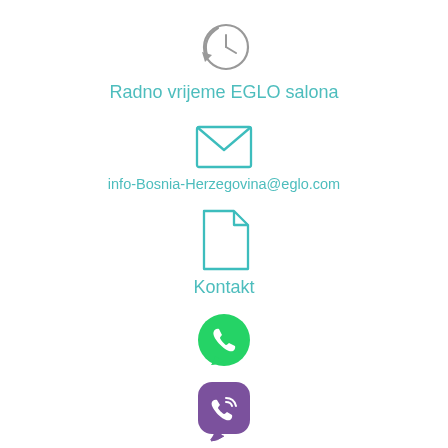[Figure (illustration): Clock/history icon — circular arrow with a clock face, grey outline style]
Radno vrijeme EGLO salona
[Figure (illustration): Envelope/email icon — teal outline style envelope]
info-Bosnia-Herzegovina@eglo.com
[Figure (illustration): Document/contact icon — teal outline style document page with folded corner]
Kontakt
[Figure (illustration): WhatsApp icon — green circle with white phone handset]
[Figure (illustration): Viber icon — purple rounded square with a phone handset with signal waves]